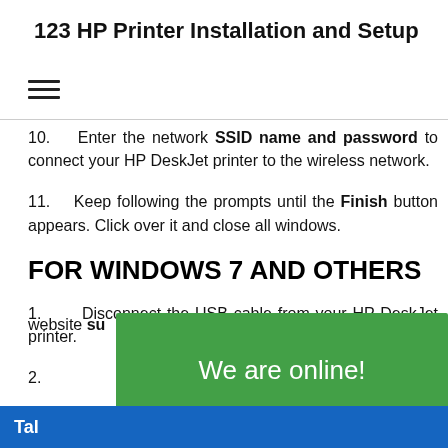123 HP Printer Installation and Setup
[Figure (other): Hamburger menu icon (three horizontal lines)]
10.   Enter the network SSID name and password to connect your HP DeskJet printer to the wireless network.
11.   Keep following the prompts until the Finish button appears. Click over it and close all windows.
FOR WINDOWS 7 AND OTHERS
1.   Disconnect the USB cable from your HP DeskJet printer.
2.   [partially obscured] website su... r
[Figure (other): Blue scroll-to-top button with upward chevron arrow]
[Figure (other): Green 'We are online!' notification banner overlay]
Tal...